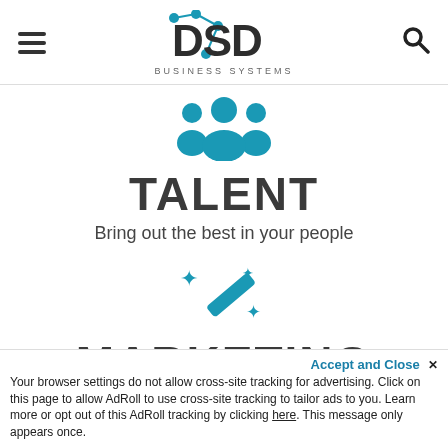DSD BUSINESS SYSTEMS
[Figure (illustration): Teal icon of a group of people (team/talent)]
TALENT
Bring out the best in your people
[Figure (illustration): Teal magic wand icon with sparkles]
MARKETING
Connect sales and marketing
Accept and Close ✕
Your browser settings do not allow cross-site tracking for advertising. Click on this page to allow AdRoll to use cross-site tracking to tailor ads to you. Learn more or opt out of this AdRoll tracking by clicking here. This message only appears once.